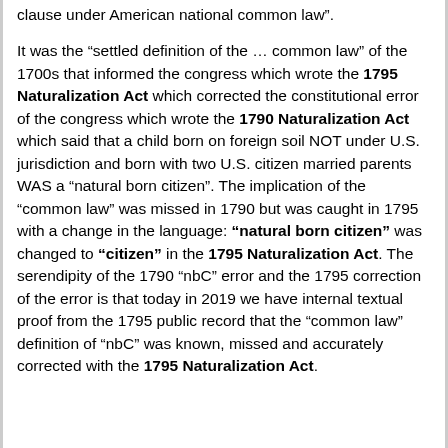clause under American national common law".
It was the “settled definition of the … common law” of the 1700s that informed the congress which wrote the 1795 Naturalization Act which corrected the constitutional error of the congress which wrote the 1790 Naturalization Act which said that a child born on foreign soil NOT under U.S. jurisdiction and born with two U.S. citizen married parents WAS a “natural born citizen”. The implication of the “common law” was missed in 1790 but was caught in 1795 with a change in the language: “natural born citizen” was changed to “citizen” in the 1795 Naturalization Act. The serendipity of the 1790 “nbC” error and the 1795 correction of the error is that today in 2019 we have internal textual proof from the 1795 public record that the “common law” definition of “nbC” was known, missed and accurately corrected with the 1795 Naturalization Act.